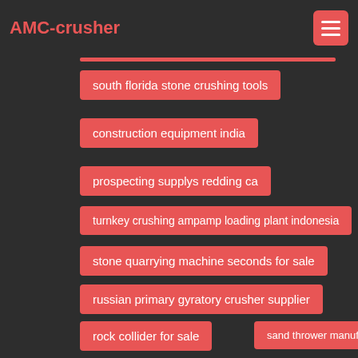AMC-crusher
south florida stone crushing tools
construction equipment india
prospecting supplys redding ca
turnkey crushing ampamp loading plant indonesia
stone quarrying machine seconds for sale
russian primary gyratory crusher supplier
rock collider for sale
sand thrower manufacturers
send hand crusher machine china
rock dressing equipment cost tanzania